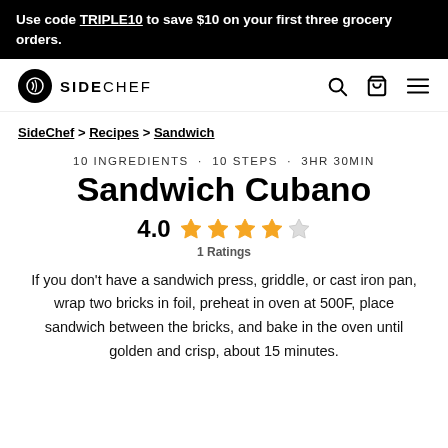Use code TRIPLE10 to save $10 on your first three grocery orders.
[Figure (logo): SideChef logo with search, cart, and menu icons]
SideChef > Recipes > Sandwich
10 INGREDIENTS · 10 STEPS · 3HR 30MIN
Sandwich Cubano
4.0  ★★★★☆  1 Ratings
If you don't have a sandwich press, griddle, or cast iron pan, wrap two bricks in foil, preheat in oven at 500F, place sandwich between the bricks, and bake in the oven until golden and crisp, about 15 minutes.